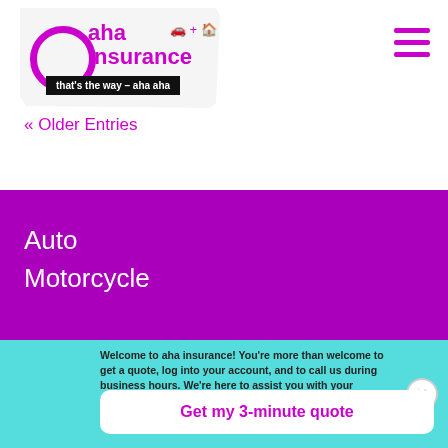[Figure (logo): aha insurance logo with circle icon, car and home icons, tagline 'that's the way – aha aha' on black bar]
« Older Entries
Auto
Motorcycle
Welcome to aha insurance! You're more than welcome to get a quote, log into your account, and to call us during business hours. We're here to assist you with your insurance policy or quote even while working remotely.
Get my 3-minute quote